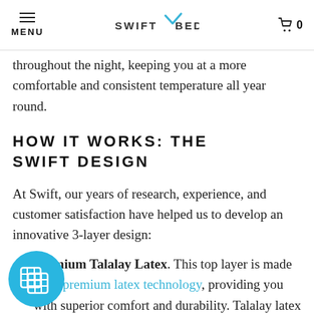MENU  SWIFTBED  0
importantly, you support air circulability throughout the night, keeping you at a more comfortable and consistent temperature all year round.
HOW IT WORKS: THE SWIFT DESIGN
At Swift, our years of research, experience, and customer satisfaction have helped us to develop an innovative 3-layer design:
Premium Talalay Latex. This top layer is made from premium latex technology, providing you with superior comfort and durability. Talalay latex is known for its light elasticity. Featuring a unique cell structure, Talalay provides more